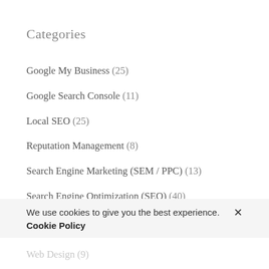Categories
Google My Business (25)
Google Search Console (11)
Local SEO (25)
Reputation Management (8)
Search Engine Marketing (SEM / PPC) (13)
Search Engine Optimization (SEO) (40)
Security & Data (1)
Social Media Marketing (SMM) (9)
We use cookies to give you the best experience. Cookie Policy
Web Design (9)